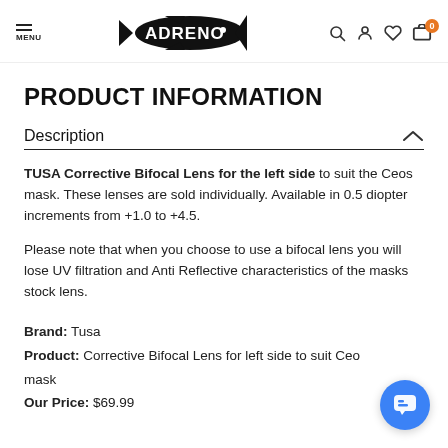MENU | ADRENO | (search, account, wishlist, cart icons)
PRODUCT INFORMATION
Description
TUSA Corrective Bifocal Lens for the left side to suit the Ceos mask. These lenses are sold individually. Available in 0.5 diopter increments from +1.0 to +4.5.
Please note that when you choose to use a bifocal lens you will lose UV filtration and Anti Reflective characteristics of the masks stock lens.
Brand: Tusa
Product: Corrective Bifocal Lens for left side to suit Ceos mask
Our Price: $69.99